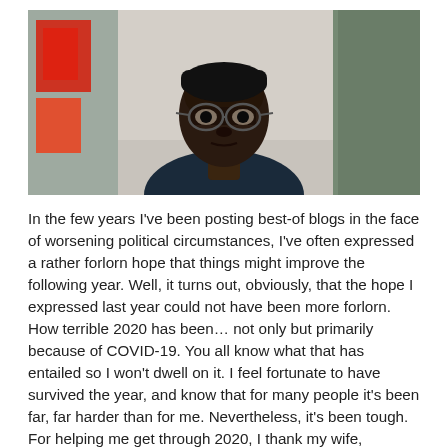[Figure (photo): Portrait photo of a young Black man wearing round glasses, looking directly at the camera, in an indoor hallway setting with blurred background showing red and orange posters on the left and green/grey walls on the right.]
In the few years I've been posting best-of blogs in the face of worsening political circumstances, I've often expressed a rather forlorn hope that things might improve the following year. Well, it turns out, obviously, that the hope I expressed last year could not have been more forlorn. How terrible 2020 has been… not only but primarily because of COVID-19. You all know what that has entailed so I won't dwell on it. I feel fortunate to have survived the year, and know that for many people it's been far, far harder than for me. Nevertheless, it's been tough. For helping me get through 2020, I thank my wife, friends…